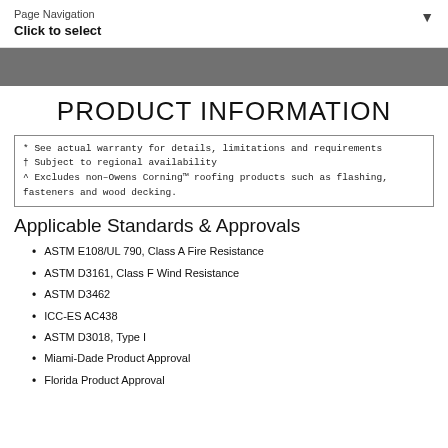Page Navigation
Click to select
* See actual warranty for details, limitations and requirements
† Subject to regional availability
^ Excludes non–Owens Corning™ roofing products such as flashing, fasteners and wood decking.
PRODUCT INFORMATION
Applicable Standards & Approvals
ASTM E108/UL 790, Class A Fire Resistance
ASTM D3161, Class F Wind Resistance
ASTM D3462
ICC-ES AC438
ASTM D3018, Type I
Miami-Dade Product Approval
Florida Product Approval